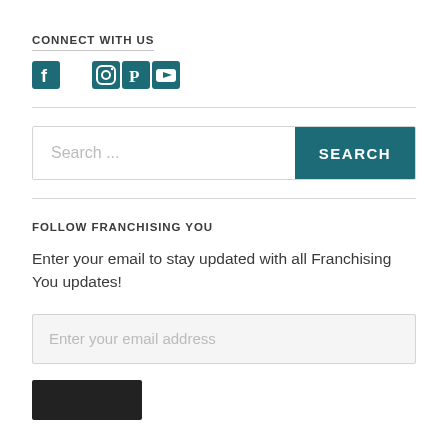CONNECT WITH US
[Figure (illustration): Social media icons: Facebook, Twitter, Instagram, Pinterest, YouTube in teal color]
[Figure (screenshot): Search bar with placeholder text 'Search ...' and a teal SEARCH button]
FOLLOW FRANCHISING YOU
Enter your email to stay updated with all Franchising You updates!
[Figure (screenshot): Email input field with placeholder 'Enter your email address' and a dark Follow button partially visible]